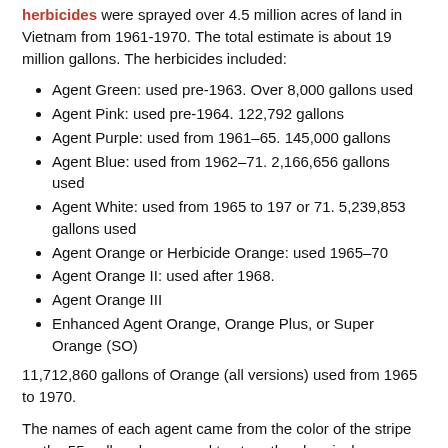herbicides were sprayed over 4.5 million acres of land in Vietnam from 1961-1970. The total estimate is about 19 million gallons. The herbicides included:
Agent Green: used pre-1963. Over 8,000 gallons used
Agent Pink: used pre-1964. 122,792 gallons
Agent Purple: used from 1961–65. 145,000 gallons
Agent Blue: used from 1962–71. 2,166,656 gallons used
Agent White: used from 1965 to 197 or 71. 5,239,853 gallons used
Agent Orange or Herbicide Orange: used 1965–70
Agent Orange II: used after 1968.
Agent Orange III
Enhanced Agent Orange, Orange Plus, or Super Orange (SO)
11,712,860 gallons of Orange (all versions) used from 1965 to 1970.
The names of each agent came from the color of the stripe on the 55-gallon drums used to store the chemicals.
Agent Orange and All Rainbow Herbicides